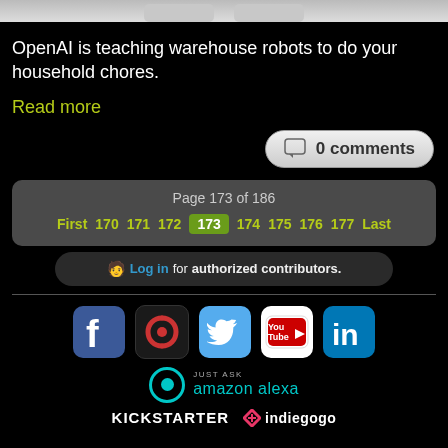[Figure (photo): Top portion of robot images cropped at top of page]
OpenAI is teaching warehouse robots to do your household chores.
Read more
0 comments
Page 173 of 186
First 170 171 172 173 174 175 176 177 Last
🧑 Log in for authorized contributors.
[Figure (logo): Social media icons: Facebook, Meerkat/Vine, Twitter, YouTube, LinkedIn]
[Figure (logo): Amazon Alexa logo with teal circle icon, JUST ASK text, amazon alexa text]
[Figure (logo): Kickstarter and Indiegogo logos]